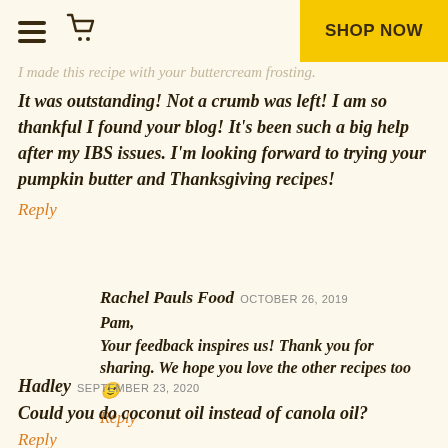Shop Now
I made this recipe with your buttercream frosting.
It was outstanding! Not a crumb was left! I am so thankful I found your blog! It’s been such a big help after my IBS issues. I’m looking forward to trying your pumpkin butter and Thanksgiving recipes!
Reply
Rachel Pauls Food OCTOBER 26, 2019
Pam,
Your feedback inspires us! Thank you for sharing. We hope you love the other recipes too 🙂
Reply
Hadley SEPTEMBER 23, 2020
Could you do coconut oil instead of canola oil?
Reply